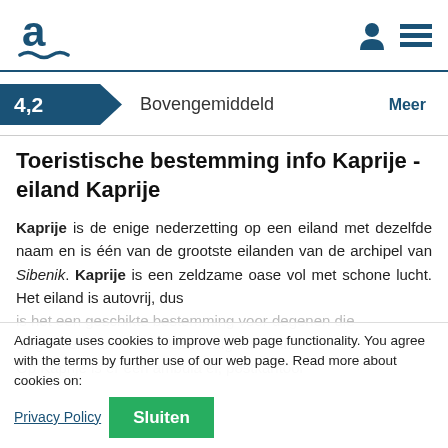Adriagate logo, user icon, menu icon
4,2  Bovengemiddeld  Meer
Toeristische bestemming info Kaprije - eiland Kaprije
Kaprije is de enige nederzetting op een eiland met dezelfde naam en is één van de grootste eilanden van de archipel van Sibenik. Kaprije is een zeldzame oase vol met schone lucht. Het eiland is autovrij, dus is het een geschikte bestemming voor degenen die weg willen van het stadslawaaij edig rust willen. Op Kaprije is er een ambulan el, postkantoor
Adriagate uses cookies to improve web page functionality. You agree with the terms by further use of our web page. Read more about cookies on: Privacy Policy  Sluiten